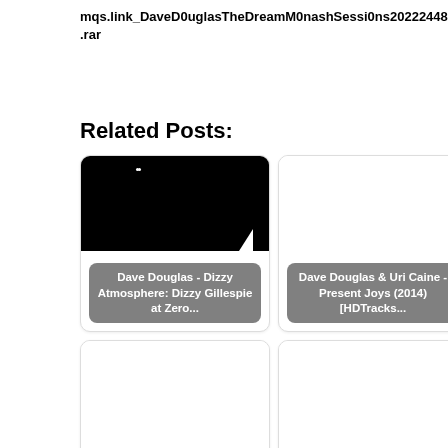mqs.link_DaveD0uglasTheDreamM0nashSessi0ns20222448.rar
Related Posts:
[Figure (photo): Card 1: Dark/black image with small white triangle and dots, labeled 'Dave Douglas - Dizzy Atmosphere: Dizzy Gillespie at Zero...']
[Figure (photo): Card 2: White/blank image, labeled 'Dave Douglas & Uri Caine - Present Joys (2014) [HDTracks...']
[Figure (photo): Card 3: White/blank image, labeled 'Joe Lovano and Dave Douglas Sound Prints - Scandal (2018)...']
[Figure (photo): Card 4: White/blank image, labeled 'Dave Douglas - Overcome (2020) [FLAC 24bit/44,1kHz]']